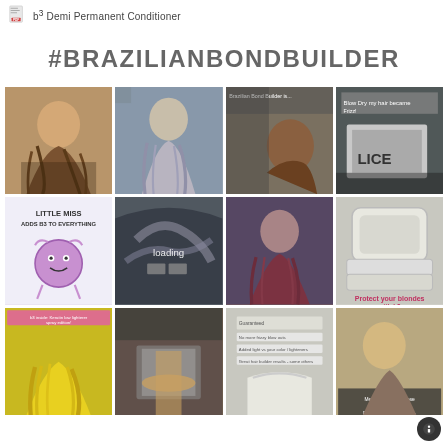b³ Demi Permanent Conditioner
#BRAZILIANBONDBUILDER
[Figure (photo): Grid of 12 social media photos tagged #brazilianbondbuilder showing hair treatment before/after photos, product shots, and user-generated content including styled hair, salon scenes, and promotional graphics.]